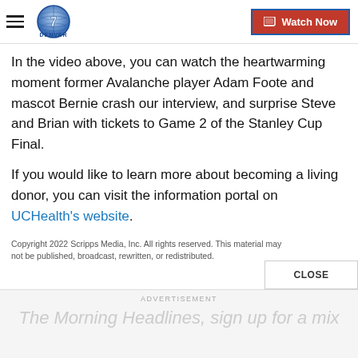Denver7 — Watch Now
In the video above, you can watch the heartwarming moment former Avalanche player Adam Foote and mascot Bernie crash our interview, and surprise Steve and Brian with tickets to Game 2 of the Stanley Cup Final.
If you would like to learn more about becoming a living donor, you can visit the information portal on UCHealth's website.
Copyright 2022 Scripps Media, Inc. All rights reserved. This material may not be published, broadcast, rewritten, or redistributed.
ADVERTISEMENT
The Morning Headlines, sign up for a mix